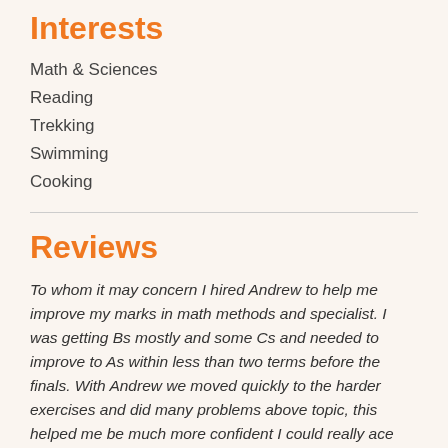Interests
Math & Sciences
Reading
Trekking
Swimming
Cooking
Reviews
To whom it may concern I hired Andrew to help me improve my marks in math methods and specialist. I was getting Bs mostly and some Cs and needed to improve to As within less than two terms before the finals. With Andrew we moved quickly to the harder exercises and did many problems above topic, this helped me be much more confident I could really ace my tests, which happened in the same term! He also helped me so much understand the requirements of the assignments with all the their details and I got As in both too. I finished with A+ in methods and A- in specialist and got admitted to my first